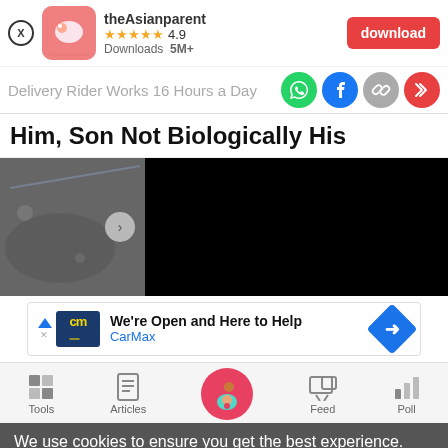[Figure (screenshot): theAsianparent app advertisement banner with app icon, star rating 4.9, Downloads 5M+, and a red download button]
Delivery Rider Works 16 Hours a Day
[Figure (infographic): Social share icons: WhatsApp (green), Facebook (blue), link (grey), forward (red)]
Him, Son Not Biologically His
[Figure (photo): Split image: left side shows a dark/grey textured surface with a navigation arrow, right side is a black video player area]
[Figure (screenshot): CarMax advertisement: cm logo, text 'We're Open and Here to Help', 'CarMax', blue diamond arrow icon]
[Figure (infographic): Bottom navigation bar with icons for Tools, Articles, Home (pregnant woman icon in pink circle), Feed, Poll]
We use cookies to ensure you get the best experience.
Learn More    Ok, Got it